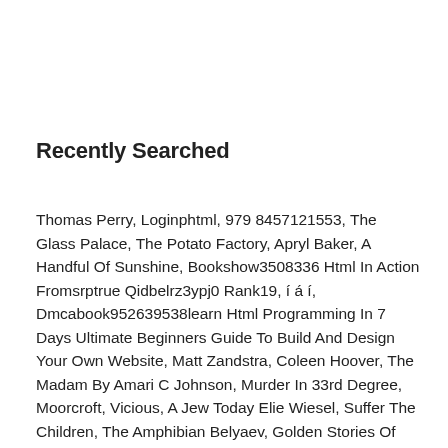Recently Searched
Thomas Perry, Loginphtml, 979 8457121553, The Glass Palace, The Potato Factory, Apryl Baker, A Handful Of Sunshine, Bookshow3508336 Html In Action Fromsrptrue Qidbelrz3ypj0 Rank19, í á í, Dmcabook952639538learn Html Programming In 7 Days Ultimate Beginners Guide To Build And Design Your Own Website, Matt Zandstra, Coleen Hoover, The Madam By Amari C Johnson, Murder In 33rd Degree, Moorcroft, Vicious, A Jew Today Elie Wiesel, Suffer The Children, The Amphibian Belyaev, Golden Stories Of Muslim Woman, The Stars My Destination, Roland Smith, Valentin Baciu, Publichtmltargz, The Prize By Irving Wallace, Publichtmlzip, Zandstra, Bookshow24860904 Html Programming Professional Made Easy 2nd Edition